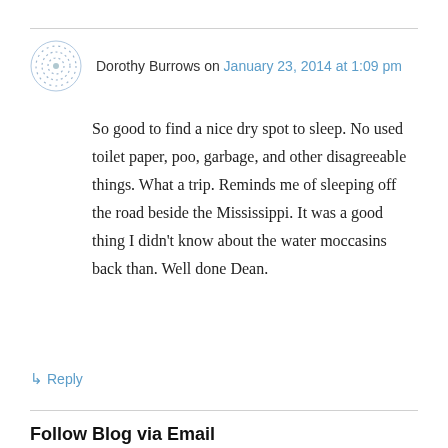Dorothy Burrows on January 23, 2014 at 1:09 pm
So good to find a nice dry spot to sleep. No used toilet paper, poo, garbage, and other disagreeable things. What a trip. Reminds me of sleeping off the road beside the Mississippi. It was a good thing I didn't know about the water moccasins back than. Well done Dean.
↳ Reply
Follow Blog via Email
Enter your email address to follow this blog and receive notifications of new posts by email.